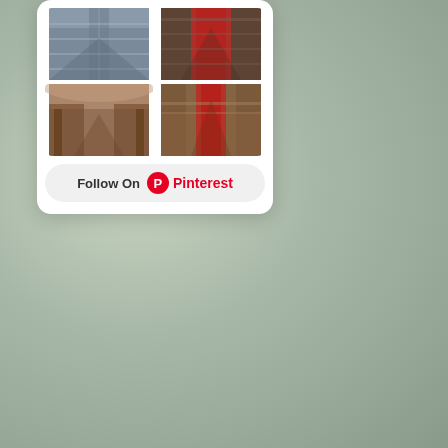[Figure (screenshot): A Pinterest widget card showing a 2x2 grid of library interior photographs (grand historic libraries with long reading halls, ornate architecture, bookshelves) and a 'Follow On Pinterest' button with the Pinterest logo below the photo grid. The card sits against a muted green-grey blurred background.]